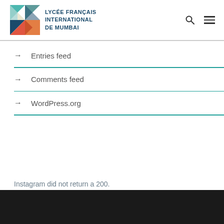[Figure (logo): Lycée Français International de Mumbai logo with colorful geometric shapes and text]
Entries feed
Comments feed
WordPress.org
Instagram did not return a 200.